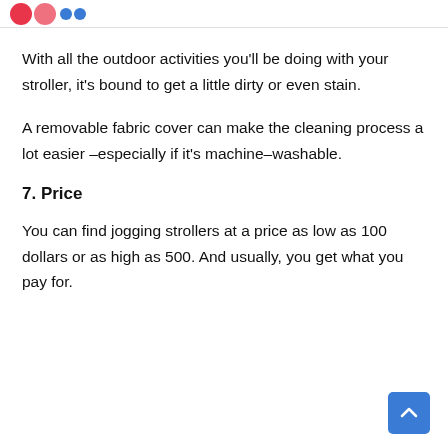With all the outdoor activities you'll be doing with your stroller, it's bound to get a little dirty or even stain.
A removable fabric cover can make the cleaning process a lot easier –especially if it's machine–washable.
7. Price
You can find jogging strollers at a price as low as 100 dollars or as high as 500. And usually, you get what you pay for.